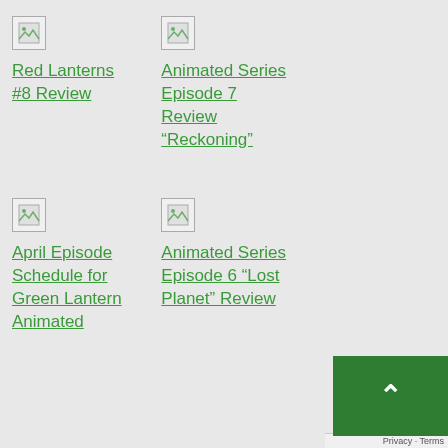[Figure (illustration): Broken image placeholder icon for Red Lanterns #8 Review]
Red Lanterns #8 Review
[Figure (illustration): Broken image placeholder icon for Animated Series Episode 7 Review Reckoning]
Animated Series Episode 7 Review “Reckoning”
[Figure (illustration): Broken image placeholder icon for April Episode Schedule for Green Lantern Animated]
April Episode Schedule for Green Lantern Animated
[Figure (illustration): Broken image placeholder icon for Animated Series Episode 6 Lost Planet Review]
Animated Series Episode 6 “Lost Planet” Review
Privacy · Terms